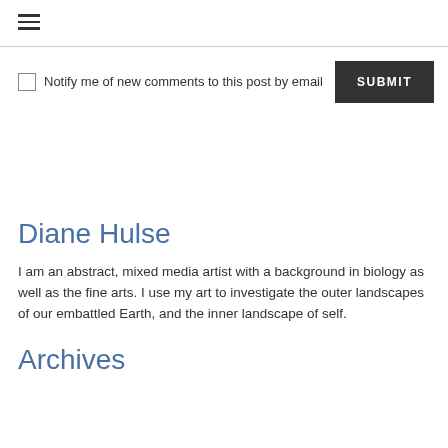≡
Notify me of new comments to this post by email  SUBMIT
Diane Hulse
I am an abstract, mixed media artist with a background in biology as well as the fine arts. I use my art to investigate the outer landscapes of our embattled Earth, and the inner landscape of self.
Archives